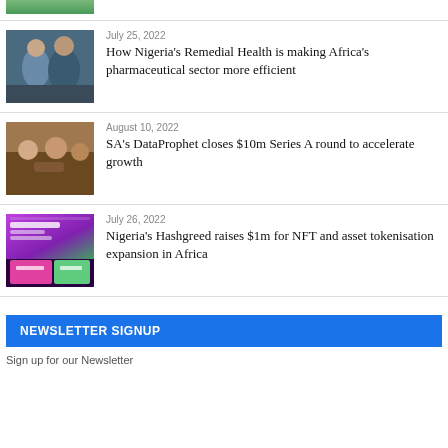[Figure (photo): Partial top image, cropped]
[Figure (photo): Two men in dark t-shirts sitting]
July 25, 2022
How Nigeria's Remedial Health is making Africa's pharmaceutical sector more efficient
[Figure (photo): People at a table with drinks, celebrating]
August 10, 2022
SA's DataProphet closes $10m Series A round to accelerate growth
[Figure (screenshot): Purple and pink website/app interface screenshot]
July 26, 2022
Nigeria's Hashgreed raises $1m for NFT and asset tokenisation expansion in Africa
NEWSLETTER SIGNUP
Sign up for our Newsletter